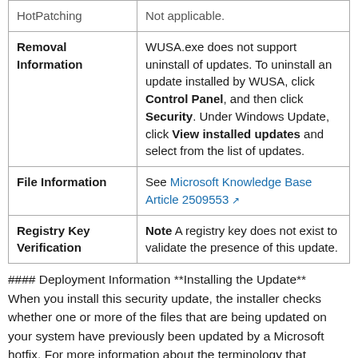| Field | Value |
| --- | --- |
| HotPatching | Not applicable. |
| Removal Information | WUSA.exe does not support uninstall of updates. To uninstall an update installed by WUSA, click Control Panel, and then click Security. Under Windows Update, click View installed updates and select from the list of updates. |
| File Information | See Microsoft Knowledge Base Article 2509553 |
| Registry Key Verification | Note A registry key does not exist to validate the presence of this update. |
#### Deployment Information **Installing the Update** When you install this security update, the installer checks whether one or more of the files that are being updated on your system have previously been updated by a Microsoft hotfix. For more information about the terminology that appears in this bulletin, such as *hotfix*, see [Microsoft Knowledge Base Article 824684]